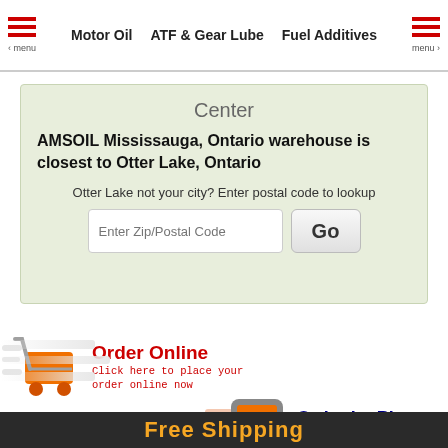Motor Oil | ATF & Gear Lube | Fuel Additives
Center
AMSOIL Mississauga, Ontario warehouse is closest to Otter Lake, Ontario
Otter Lake not your city? Enter postal code to lookup
Order Online
Click here to place your order online now
Order by Phone
Click here to place your order by phone now
Free Shipping